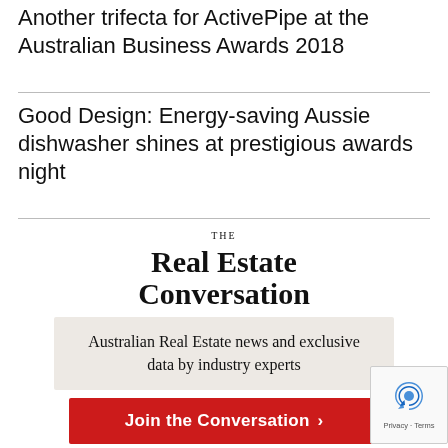Another trifecta for ActivePipe at the Australian Business Awards 2018
Good Design: Energy-saving Aussie dishwasher shines at prestigious awards night
[Figure (infographic): The Real Estate Conversation advertisement with logo, description box saying 'Australian Real Estate news and exclusive data by industry experts', and a red 'Join the Conversation' button with a right arrow.]